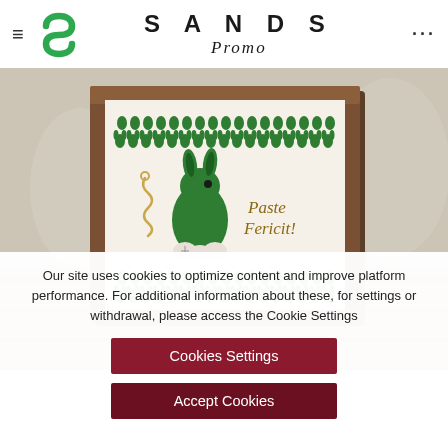≡  S A N D S ... Promo
[Figure (photo): Easter-themed decorative wooden box with green bunny rabbit illustration, green egg and bunny pattern border, and 'Paste Fericit!' (Happy Easter) text, displayed on a wooden surface with blurred background]
Our site uses cookies to optimize content and improve platform performance. For additional information about these, for settings or withdrawal, please access the Cookie Settings
Cookies Settings
Accept Cookies